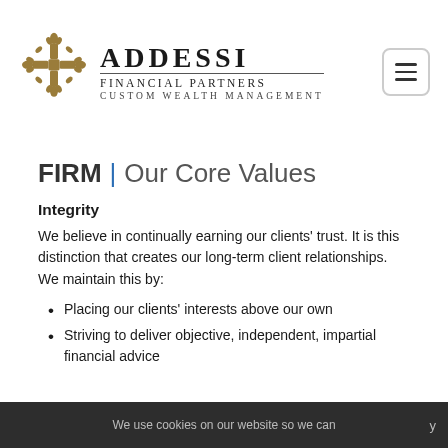[Figure (logo): Addessi Financial Partners logo with ornate gold fleur-de-lis cross emblem, company name ADDESSI FINANCIAL PARTNERS, and tagline CUSTOM WEALTH MANAGEMENT]
FIRM | Our Core Values
Integrity
We believe in continually earning our clients' trust. It is this distinction that creates our long-term client relationships. We maintain this by:
Placing our clients' interests above our own
Striving to deliver objective, independent, impartial financial advice
We use cookies on our website so we can